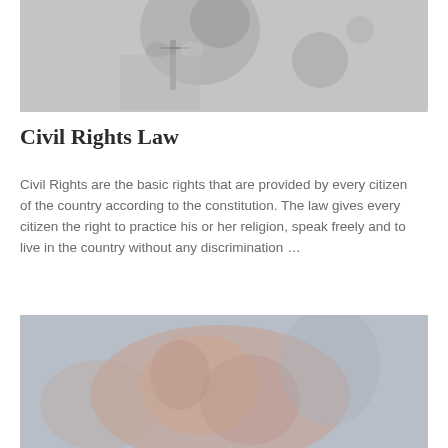[Figure (photo): Black and white blurred photograph of a Lady Justice statue holding scales]
Civil Rights Law
Civil Rights are the basic rights that are provided by every citizen of the country according to the constitution. The law gives every citizen the right to practice his or her religion, speak freely and to live in the country without any discrimination …
[Figure (photo): Blurred color photograph of hands, with warm reddish and gray tones, partially cropped at the bottom of the page]